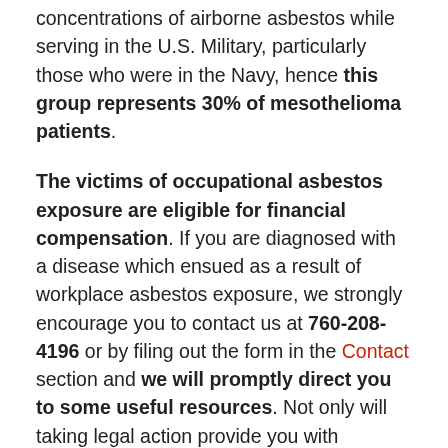concentrations of airborne asbestos while serving in the U.S. Military, particularly those who were in the Navy, hence this group represents 30% of mesothelioma patients.
The victims of occupational asbestos exposure are eligible for financial compensation. If you are diagnosed with a disease which ensued as a result of workplace asbestos exposure, we strongly encourage you to contact us at 760-208-4196 or by filing out the form in the Contact section and we will promptly direct you to some useful resources. Not only will taking legal action provide you with financial compensation, which can help you pay for your treatment and grant you access to higher-quality medical care, but it will also hold the responsible company liable for their neglectful actions.
Which Occupational Groups Are